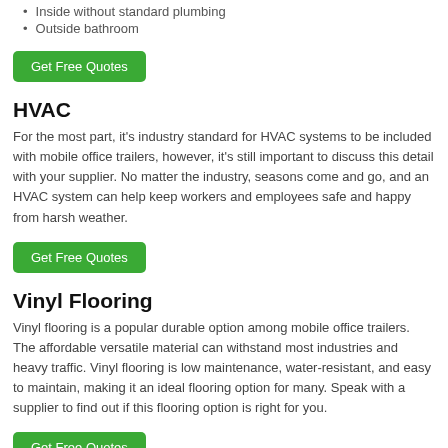Inside without standard plumbing
Outside bathroom
Get Free Quotes
HVAC
For the most part, it's industry standard for HVAC systems to be included with mobile office trailers, however, it's still important to discuss this detail with your supplier. No matter the industry, seasons come and go, and an HVAC system can help keep workers and employees safe and happy from harsh weather.
Get Free Quotes
Vinyl Flooring
Vinyl flooring is a popular durable option among mobile office trailers. The affordable versatile material can withstand most industries and heavy traffic. Vinyl flooring is low maintenance, water-resistant, and easy to maintain, making it an ideal flooring option for many. Speak with a supplier to find out if this flooring option is right for you.
Get Free Quotes